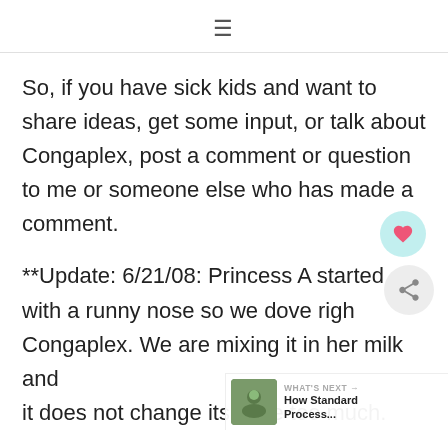☰
So, if you have sick kids and want to share ideas, get some input, or talk about Congaplex, post a comment or question to me or someone else who has made a comment.
**Update: 6/21/08: Princess A started with a runny nose so we dove right into Congaplex. We are mixing it in her milk and it does not change its taste too much.